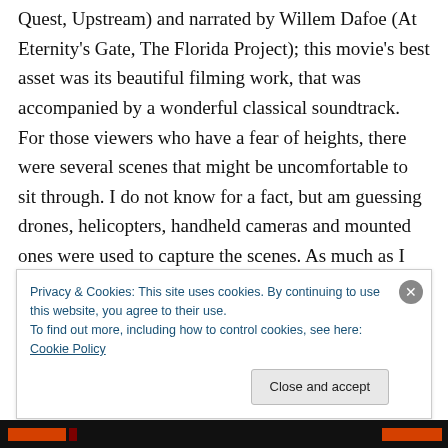Quest, Upstream) and narrated by Willem Dafoe (At Eternity's Gate, The Florida Project); this movie's best asset was its beautiful filming work, that was accompanied by a wonderful classical soundtrack. For those viewers who have a fear of heights, there were several scenes that might be uncomfortable to sit through. I do not know for a fact, but am guessing drones, helicopters, handheld cameras and mounted ones were used to capture the scenes. As much as I enjoyed watching the variety of mountain peaks, I wished there would have been more to the script. There were times I had no idea what mountain
Privacy & Cookies: This site uses cookies. By continuing to use this website, you agree to their use.
To find out more, including how to control cookies, see here: Cookie Policy
Close and accept